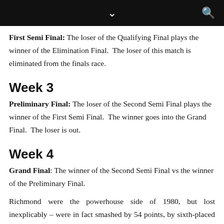⌄  🔍
First Semi Final: The loser of the Qualifying Final plays the winner of the Elimination Final.  The loser of this match is eliminated from the finals race.
Week 3
Preliminary Final: The loser of the Second Semi Final plays the winner of the First Semi Final.  The winner goes into the Grand Final.  The loser is out.
Week 4
Grand Final: The winner of the Second Semi Final vs the winner of the Preliminary Final.
Richmond were the powerhouse side of 1980, but lost inexplicably – were in fact smashed by 54 points, by sixth-placed South Melbourne – in Round 22, surrendering top spot and dropping to third.  Geelong jumped to first, Carlton to third.  North Melbourne and Collingwood finished